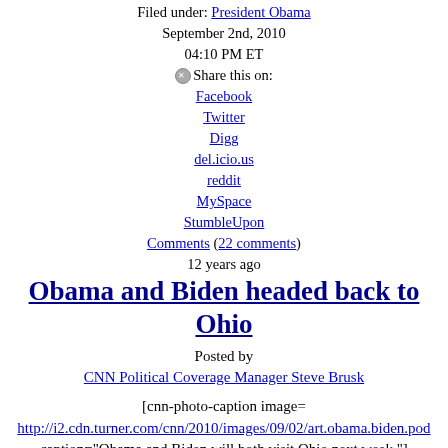Filed under: President Obama
September 2nd, 2010
04:10 PM ET
Share this on:
Facebook
Twitter
Digg
del.icio.us
reddit
MySpace
StumbleUpon
Comments (22 comments)
12 years ago
Obama and Biden headed back to Ohio
Posted by
CNN Political Coverage Manager Steve Brusk
[cnn-photo-caption image=
http://i2.cdn.turner.com/cnn/2010/images/09/02/art.obama.biden.pod
caption="Obama and Biden will both visit Ohio next week."]
Washington (CNN) - President Obama and Vice President Biden are both returning to Ohio next week, the fourth White House visit